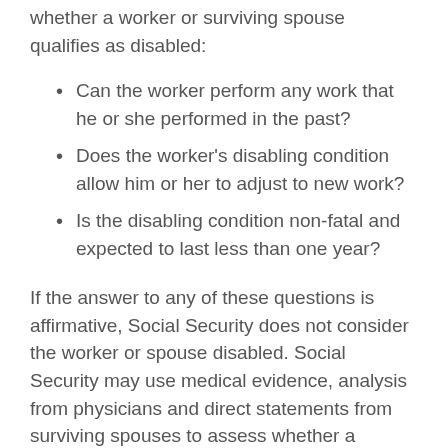whether a worker or surviving spouse qualifies as disabled:
Can the worker perform any work that he or she performed in the past?
Does the worker's disabling condition allow him or her to adjust to new work?
Is the disabling condition non-fatal and expected to last less than one year?
If the answer to any of these questions is affirmative, Social Security does not consider the worker or spouse disabled. Social Security may use medical evidence, analysis from physicians and direct statements from surviving spouses to assess whether a spouse is disabled.
...